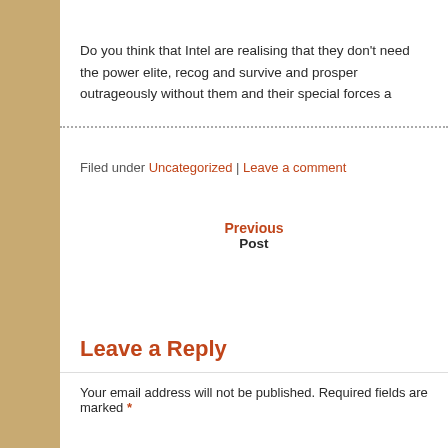Do you think that Intel are realising that they don't need the power elite, recog and survive and prosper outrageously without them and their special forces a
Filed under Uncategorized | Leave a comment
Previous Post
Leave a Reply
Your email address will not be published. Required fields are marked *